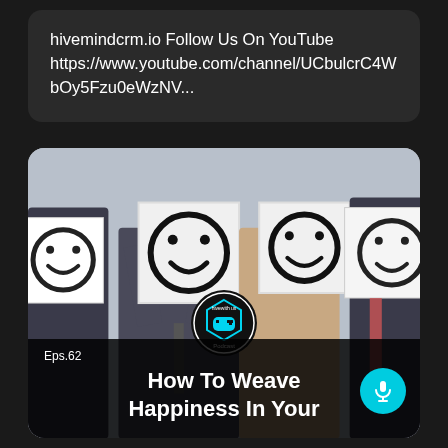hivemindcrm.io Follow Us On YouTube https://www.youtube.com/channel/UCbulcrC4WbOy5Fzu0eWzNV...
[Figure (photo): Podcast thumbnail showing four people in business attire holding smiley face signs in front of their faces. Bottom overlay shows 'Eps.62' label, Hive With Us Podcast logo, and title 'How To Weave Happiness In Your Business' with a cyan microphone button.]